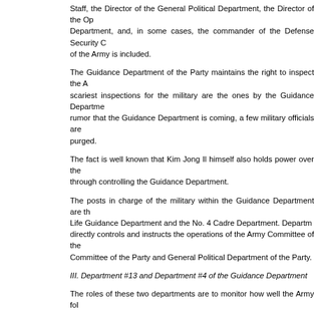Staff, the Director of the General Political Department, the Director of the Operations Department, and, in some cases, the commander of the Defense Security Command of the Army is included.
The Guidance Department of the Party maintains the right to inspect the Army. The scariest inspections for the military are the ones by the Guidance Department. Even at a rumor that the Guidance Department is coming, a few military officials are immediately purged.
The fact is well known that Kim Jong Il himself also holds power over the military through controlling the Guidance Department.
The posts in charge of the military within the Guidance Department are the No. 13 Life Guidance Department and the No. 4 Cadre Department. Department #13 directly controls and instructs the operations of the Army Committee of the Party, City Committee of the Party and General Political Department of the Party.
III. Department #13 and Department #4 of the Guidance Department
The roles of these two departments are to monitor how well the Army follows the ideology and the leadership of Kim Jong Il, and whether or not party organizations and political organizations within the Army are operated well by the Party leadership. The Army Committee of the Party and the General Political Bureau doesn't have the authority to make decisions, so it has to consult with Department #13 before taking action.
The Vice-Director of the Guidance Department is in charge of Department #13. The offices of Department #13 are located in the building of the Ministry of the